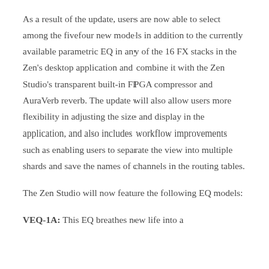As a result of the update, users are now able to select among the fivefour new models in addition to the currently available parametric EQ in any of the 16 FX stacks in the Zen's desktop application and combine it with the Zen Studio's transparent built-in FPGA compressor and AuraVerb reverb. The update will also allow users more flexibility in adjusting the size and display in the application, and also includes workflow improvements such as enabling users to separate the view into multiple shards and save the names of channels in the routing tables.
The Zen Studio will now feature the following EQ models:
VEQ-1A: This EQ breathes new life into a